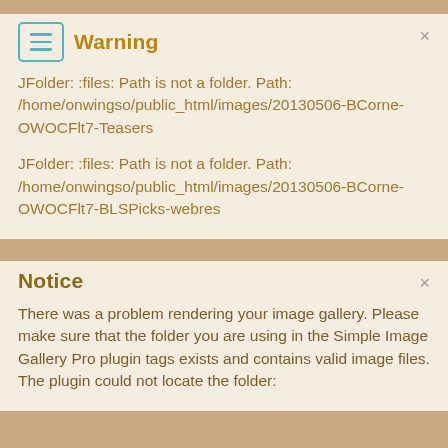Warning
JFolder: :files: Path is not a folder. Path: /home/onwingso/public_html/images/20130506-BCorne-OWOCFlt7-Teasers
JFolder: :files: Path is not a folder. Path: /home/onwingso/public_html/images/20130506-BCorne-OWOCFlt7-BLSPicks-webres
Notice
There was a problem rendering your image gallery. Please make sure that the folder you are using in the Simple Image Gallery Pro plugin tags exists and contains valid image files. The plugin could not locate the folder: